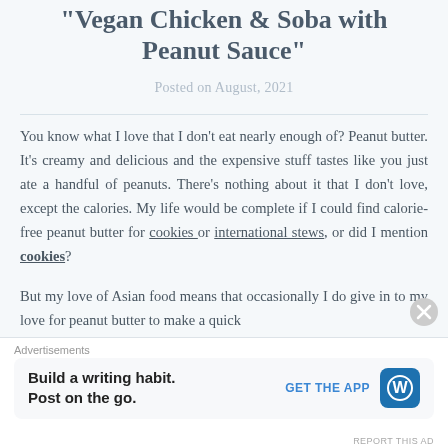Vegan Chicken & Soba with Peanut Sauce
Posted on August, 2021
You know what I love that I don't eat nearly enough of? Peanut butter. It's creamy and delicious and the expensive stuff tastes like you just ate a handful of peanuts. There's nothing about it that I don't love, except the calories. My life would be complete if I could find calorie-free peanut butter for cookies or international stews, or did I mention cookies?
But my love of Asian food means that occasionally I do give in to my love for peanut butter to make a quick
Advertisements
[Figure (other): WordPress advertisement banner: 'Build a writing habit. Post on the go.' with GET THE APP button and WordPress logo]